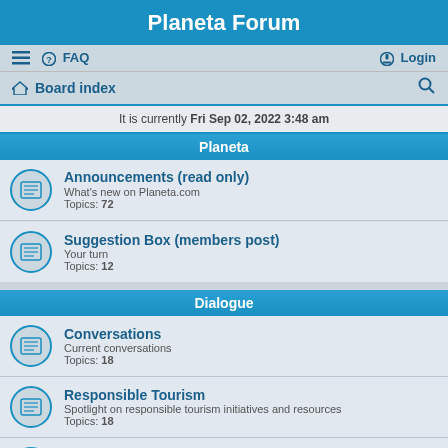Planeta Forum
≡  FAQ    Login
Board index   🔍
It is currently Fri Sep 02, 2022 3:48 am
Planeta
Announcements (read only)
What's new on Planeta.com
Topics: 72
Suggestion Box (members post)
Your turn
Topics: 12
Dialogue
Conversations
Current conversations
Topics: 18
Responsible Tourism
Spotlight on responsible tourism initiatives and resources
Topics: 18
Climate
Climate change and timely news
Topics: ?